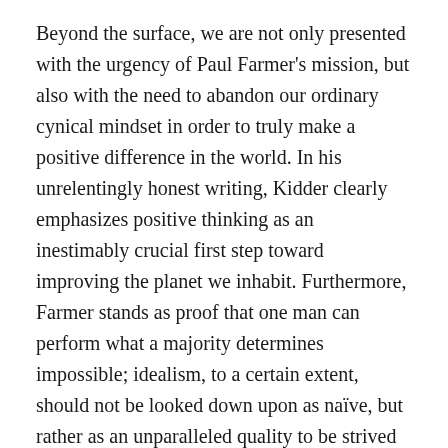Beyond the surface, we are not only presented with the urgency of Paul Farmer's mission, but also with the need to abandon our ordinary cynical mindset in order to truly make a positive difference in the world. In his unrelentingly honest writing, Kidder clearly emphasizes positive thinking as an inestimably crucial first step toward improving the planet we inhabit. Furthermore, Farmer stands as proof that one man can perform what a majority determines impossible; idealism, to a certain extent, should not be looked down upon as naïve, but rather as an unparalleled quality to be strived for.
The man we read about in is inspiring beyond his actions. Fundamentally, it's his way of thinking that is truly remarkable. He may be one of very few people who remain unflinchingly optimistic after witnessing the worst of the world's injustice, despair, and decay, and that is reason